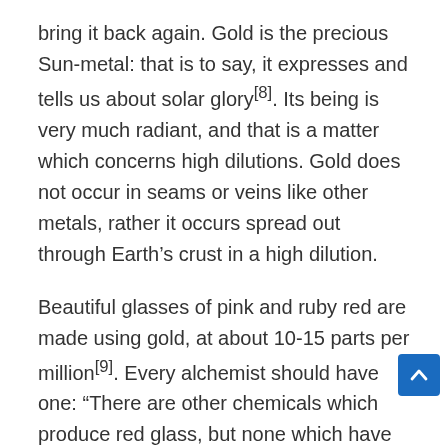bring it back again. Gold is the precious Sun-metal: that is to say, it expresses and tells us about solar glory[8]. Its being is very much radiant, and that is a matter which concerns high dilutions. Gold does not occur in seams or veins like other metals, rather it occurs spread out through Earth�s crust in a high dilution.
Beautiful glasses of pink and ruby red are made using gold, at about 10-15 parts per million[9]. Every alchemist should have one: �There are other chemicals which produce red glass, but none which have the special magic of gold ruby.�[10] Hear, hear! They aren�t expensive. While you￾re at it, why not also ask for a deep-blue cobalt-hued beaker?[11] Talking with glaz… they seemed perplexed by the way I was mainly